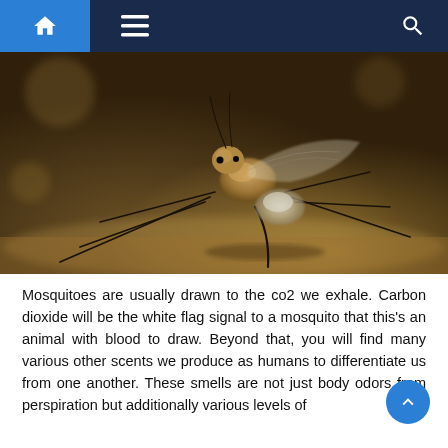Navigation bar with home, menu, and search icons
[Figure (photo): Close-up macro photograph of a mosquito on a surface, showing detailed features including legs, proboscis, and body, with a blurred warm brown background.]
Mosquitoes are usually drawn to the co2 we exhale. Carbon dioxide will be the white flag signal to a mosquito that this’s an animal with blood to draw. Beyond that, you will find many various other scents we produce as humans to differentiate us from one another. These smells are not just body odors from perspiration but additionally various levels of